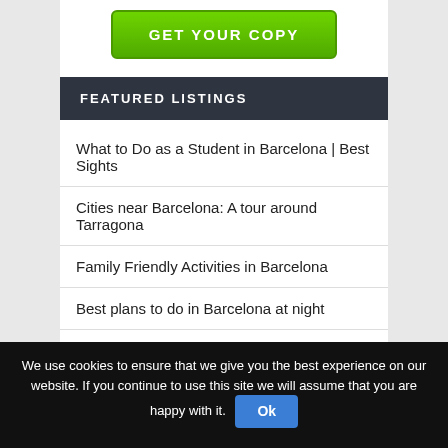[Figure (other): Green 'GET YOUR COPY' button at the top center of the content area]
FEATURED LISTINGS
What to Do as a Student in Barcelona | Best Sights
Cities near Barcelona: A tour around Tarragona
Family Friendly Activities in Barcelona
Best plans to do in Barcelona at night
Barcelona comedy show with Chris Purchase
MOST READ POSTS
We use cookies to ensure that we give you the best experience on our website. If you continue to use this site we will assume that you are happy with it. Ok